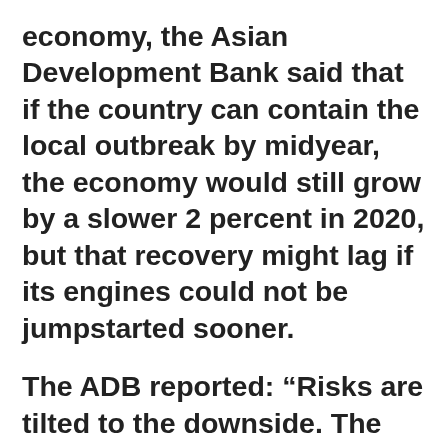economy, the Asian Development Bank said that if the country can contain the local outbreak by midyear, the economy would still grow by a slower 2 percent in 2020, but that recovery might lag if its engines could not be jumpstarted sooner.
The ADB reported: “Risks are tilted to the downside. The main downside risk to gross domestic product growth in 2020 comes from COVID-19 and is highly unpredictable. The impact on the economy will be larger than currently assumed if the global outbreak is prolonged beyond the first half, or if there is a sustained local